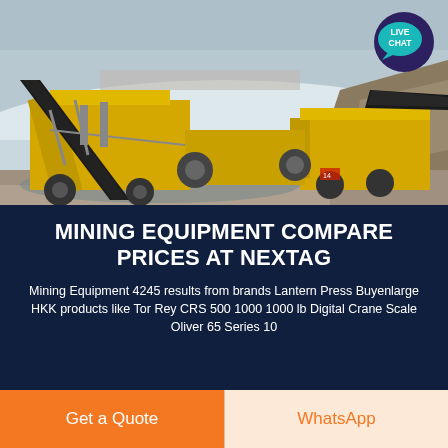[Figure (photo): Aerial/overhead view of large yellow mining/crushing equipment machinery on a snowy outdoor site with rocky terrain]
MINING EQUIPMENT COMPARE PRICES AT NEXTAG
Mining Equipment 4245 results from brands Lantern Press Buyenlarge HKK products like Tor Rey CRS 500 1000 1000 lb Digital Crane Scale Oliver 65 Series 10
Get a Quote
WhatsApp